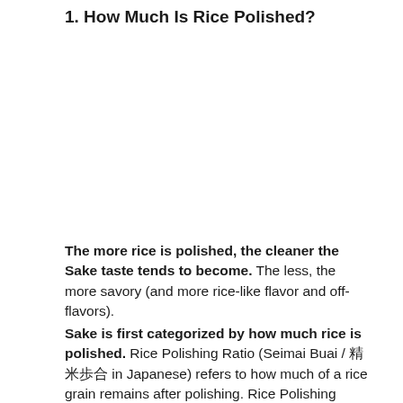1. How Much Is Rice Polished?
The more rice is polished, the cleaner the Sake taste tends to become. The less, the more savory (and more rice-like flavor and off-flavors).
Sake is first categorized by how much rice is polished. Rice Polishing Ratio (Seimai Buai / 精米歩合 in Japanese) refers to how much of a rice grain remains after polishing. Rice Polishing Ratio of